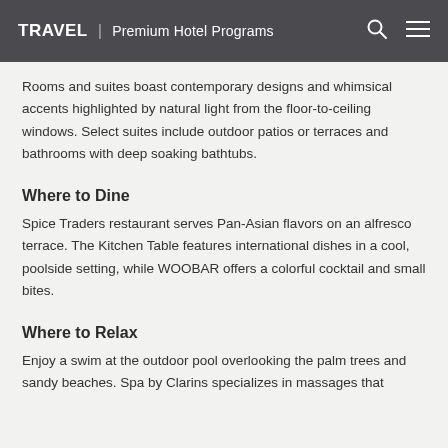TRAVEL | Premium Hotel Programs
Rooms and suites boast contemporary designs and whimsical accents highlighted by natural light from the floor-to-ceiling windows. Select suites include outdoor patios or terraces and bathrooms with deep soaking bathtubs.
Where to Dine
Spice Traders restaurant serves Pan-Asian flavors on an alfresco terrace. The Kitchen Table features international dishes in a cool, poolside setting, while WOOBAR offers a colorful cocktail and small bites.
Where to Relax
Enjoy a swim at the outdoor pool overlooking the palm trees and sandy beaches. Spa by Clarins specializes in massages that